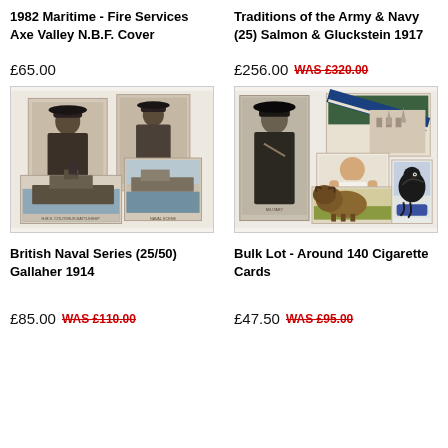1982 Maritime - Fire Services Axe Valley N.B.F. Cover
Traditions of the Army & Navy (25) Salmon & Gluckstein 1917
£65.00
£256.00  WAS £320.00
[Figure (photo): British Naval Series cigarette cards showing naval officers and warships]
[Figure (photo): Bulk lot cigarette cards showing military officer, athlete, bison, and bird]
British Naval Series (25/50) Gallaher 1914
Bulk Lot - Around 140 Cigarette Cards
£85.00  WAS £110.00
£47.50  WAS £95.00